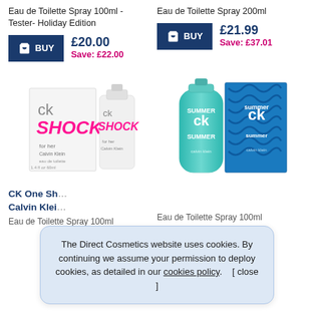Eau de Toilette Spray 100ml - Tester- Holiday Edition
Eau de Toilette Spray 200ml
£20.00
Save: £22.00
£21.99
Save: £37.01
[Figure (photo): CK Shock for Her Calvin Klein perfume box and bottle, white packaging with pink SHOCK text]
[Figure (photo): CK Summer Calvin Klein perfume bottle and box with blue/green wave pattern]
CK One Sh...
Calvin Klei...
Eau de Toilette Spray 100ml
Eau de Toilette Spray 100ml
The Direct Cosmetics website uses cookies. By continuing we assume your permission to deploy cookies, as detailed in our cookies policy.    [ close ]